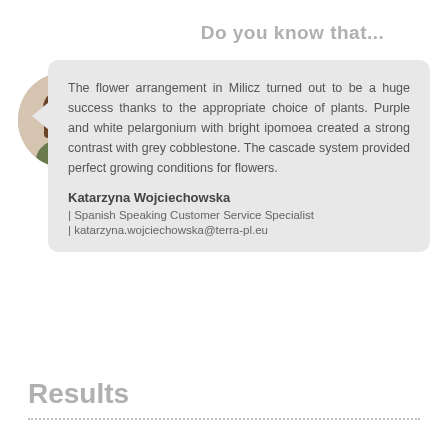Do you know that...
[Figure (photo): Portrait photo of a young woman with long brown hair wearing a green top, shown in circular crop]
The flower arrangement in Milicz turned out to be a huge success thanks to the appropriate choice of plants. Purple and white pelargonium with bright ipomoea created a strong contrast with grey cobblestone. The cascade system provided perfect growing conditions for flowers.
Katarzyna Wojciechowska
| Spanish Speaking Customer Service Specialist
| katarzyna.wojciechowska@terra-pl.eu
Results